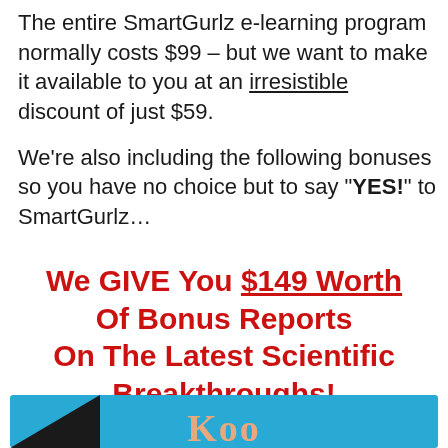The entire SmartGurlz e-learning program normally costs $99 – but we want to make it available to you at an irresistible discount of just $59.

We're also including the following bonuses so you have no choice but to say "YES!" to SmartGurlz…
We GIVE You $149 Worth Of Bonus Reports On The Latest Scientific Breakthroughs!
[Figure (illustration): Blue background image with a dark triangular shape at bottom-left and partial text 'Koo' in a peach/tan color, appearing to be a book or product cover cropped at the bottom of the page.]